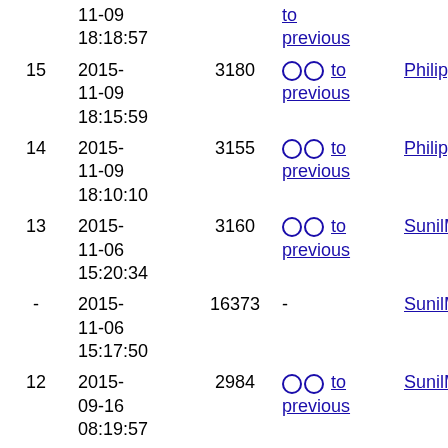| # | Date | Size | Diff | User |
| --- | --- | --- | --- | --- |
|  | 2015-11-09 18:18:57 |  | to previous |  |
| 15 | 2015-11-09 18:15:59 | 3180 | ○ ○ to previous | PhilippeB |
| 14 | 2015-11-09 18:10:10 | 3155 | ○ ○ to previous | PhilippeB |
| 13 | 2015-11-06 15:20:34 | 3160 | ○ ○ to previous | SunilMoh |
| - | 2015-11-06 15:17:50 | 16373 | - | SunilMoh |
| 12 | 2015-09-16 08:19:57 | 2984 | ○ ○ to previous | SunilMoh |
| 11 | 2015-09-15 | 2982 | ○ ○ to previous | SunilMoh |